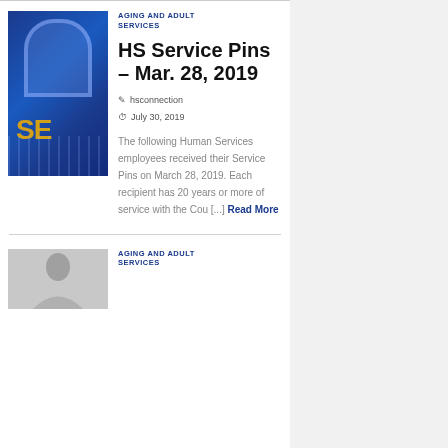[Figure (photo): Blue building with arched window and partial yellow text 'SE' visible]
AGING AND ADULT SERVICES
HS Service Pins – Mar. 28, 2019
hsconnection
July 30, 2019
The following Human Services employees received their Service Pins on March 28, 2019. Each recipient has 20 years or more of service with the Cou [...] Read More
[Figure (photo): Person in gray/silver clothing, partial view]
AGING AND ADULT SERVICES